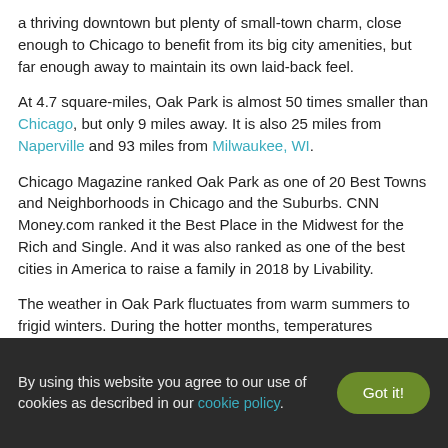a thriving downtown but plenty of small-town charm, close enough to Chicago to benefit from its big city amenities, but far enough away to maintain its own laid-back feel.
At 4.7 square-miles, Oak Park is almost 50 times smaller than Chicago, but only 9 miles away. It is also 25 miles from Naperville and 93 miles from Milwaukee, WI.
Chicago Magazine ranked Oak Park as one of 20 Best Towns and Neighborhoods in Chicago and the Suburbs. CNN Money.com ranked it the Best Place in the Midwest for the Rich and Single. And it was also ranked as one of the best cities in America to raise a family in 2018 by Livability.
The weather in Oak Park fluctuates from warm summers to frigid winters. During the hotter months, temperatures average in the low to mid 80s, often with fairly high humidity to go with it. Average winter temperatures can drop all the way into the teens at night, with wind chills that make it feel even colder.
The city receives around 36 inches of rain per year, along with another
By using this website you agree to our use of cookies as described in our cookie policy.